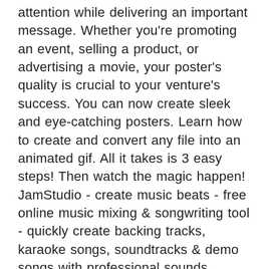attention while delivering an important message. Whether you're promoting an event, selling a product, or advertising a movie, your poster's quality is crucial to your venture's success. You can now create sleek and eye-catching posters. Learn how to create and convert any file into an animated gif. All it takes is 3 easy steps! Then watch the magic happen! JamStudio - create music beats - free online music mixing & songwriting tool - quickly create backing tracks, karaoke songs, soundtracks & demo songs with professional sounds. JamStudio is perfect for songwriters, musicians, producers or any music enthusiast. Producers can enter chords, loops, sound effects, sound clips, tracks, music, beats, patterns, riffs, pads, samples, . Our free Last Will & Testament form includes simple instructions to help you create your Will online. Protect your family and make your estate plans today. Is it legal